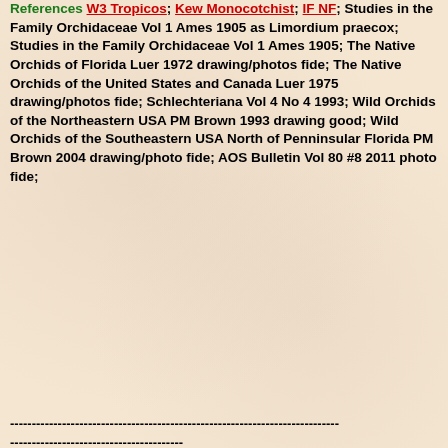References W3 Tropicos; Kew Monocotchist; IF NF; Studies in the Family Orchidaceae Vol 1 Ames 1905 as Limordium praecox; Studies in the Family Orchidaceae Vol 1 Ames 1905; The Native Orchids of Florida Luer 1972 drawing/photos fide; The Native Orchids of the United States and Canada Luer 1975 drawing/photos fide; Schlechteriana Vol 4 No 4 1993; Wild Orchids of the Northeastern USA PM Brown 1993 drawing good; Wild Orchids of the Southeastern USA North of Penninsular Florida PM Brown 2004 drawing/photo fide; AOS Bulletin Vol 80 #8 2011 photo fide;
---------------------------------------------------------------------------- ----------------------------------------
---------------------------------------------------------------------------- ----------------------------------------
---------------------------------------------------------------------------- --------------------------------